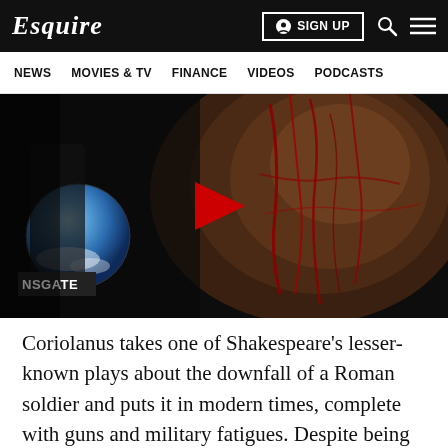Esquire
NEWS  MOVIES & TV  FINANCE  VIDEOS  PODCASTS
[Figure (screenshot): Video thumbnail showing a bloodied face in dark dramatic lighting with a play button overlay. A globe/sky circle and 'NSGATE' label appear on the left side.]
Coriolanus takes one of Shakespeare's lesser-known plays about the downfall of a Roman soldier and puts it in modern times, complete with guns and military fatigues. Despite being modernized, it's perhaps the rawest adaptation on the list, and